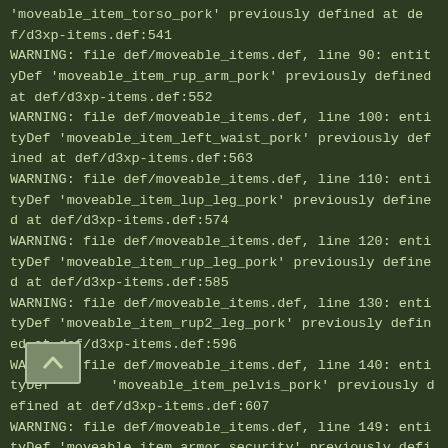'moveable_item_torso_pork' previously defined at def/d3xp-items.def:541
WARNING: file def/moveable_items.def, line 90: entityDef 'moveable_item_rup_arm_pork' previously defined at def/d3xp-items.def:552
WARNING: file def/moveable_items.def, line 100: entityDef 'moveable_item_left_waist_pork' previously defined at def/d3xp-items.def:563
WARNING: file def/moveable_items.def, line 110: entityDef 'moveable_item_lup_leg_pork' previously defined at def/d3xp-items.def:574
WARNING: file def/moveable_items.def, line 120: entityDef 'moveable_item_rup_leg_pork' previously defined at def/d3xp-items.def:585
WARNING: file def/moveable_items.def, line 130: entityDef 'moveable_item_rup2_leg_pork' previously defined at def/d3xp-items.def:596
WARNING: file def/moveable_items.def, line 140: entityDef 'moveable_item_pelvis_pork' previously defined at def/d3xp-items.def:607
WARNING: file def/moveable_items.def, line 149: entityDef 'moveable_item_armor_security' previously defined at def/d3xp-items.def:186
WARNING: file def/moveable_items.def, line 158: entityDef 'moveable_item_medkit' previously defined at def/d3xp-items.def:198